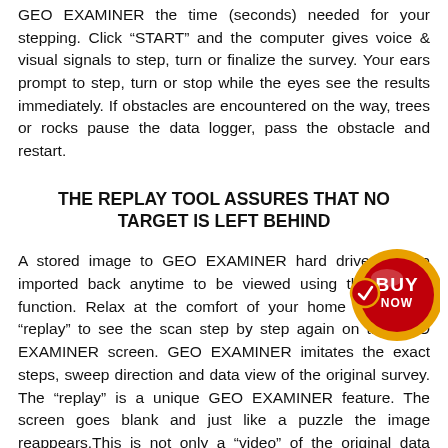GEO EXAMINER the time (seconds) needed for your stepping. Click “START” and the computer gives voice & visual signals to step, turn or finalize the survey. Your ears prompt to step, turn or stop while the eyes see the results immediately. If obstacles are encountered on the way, trees or rocks pause the data logger, pass the obstacle and restart.
THE REPLAY TOOL ASSURES THAT NO TARGET IS LEFT BEHIND
[Figure (illustration): Red and gold circular BUY NOW badge/button with an arrow icon]
A stored image to GEO EXAMINER hard drive can be imported back anytime to be viewed using the “replay” function. Relax at the comfort of your home and select “replay” to see the scan step by step again on the GEO EXAMINER screen. GEO EXAMINER imitates the exact steps, sweep direction and data view of the original survey. The “replay” is a unique GEO EXAMINER feature. The screen goes blank and just like a puzzle the image reappears.This is not only a “video” of the original data capture. Use “replay” tool to compare scans from different sweep directions and GEO EXAMINER modes on the same site, to validate your target. Often small but